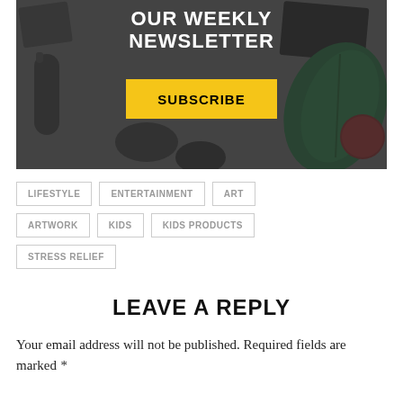[Figure (photo): Dark gray flat-lay background with black beauty/lifestyle objects including a tube, stones, and green leaf with red berry, overlaid with newsletter signup banner and yellow subscribe button]
OUR WEEKLY NEWSLETTER
SUBSCRIBE
LIFESTYLE
ENTERTAINMENT
ART
ARTWORK
KIDS
KIDS PRODUCTS
STRESS RELIEF
LEAVE A REPLY
Your email address will not be published. Required fields are marked *